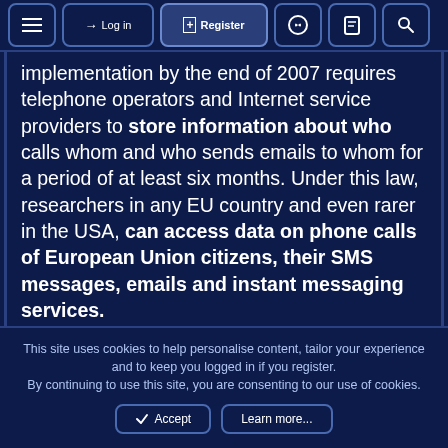Navigation bar with menu, Log in, Register, theme toggle, save, and search buttons
implementation by the end of 2007 requires telephone operators and Internet service providers to store information about who calls whom and who sends emails to whom for a period of at least six months. Under this law, researchers in any EU country and even rarer in the USA, can access data on phone calls of European Union citizens, their SMS messages, emails and instant messaging services.
The European Union recently proposed a law to
This site uses cookies to help personalise content, tailor your experience and to keep you logged in if you register.
By continuing to use this site, you are consenting to our use of cookies.